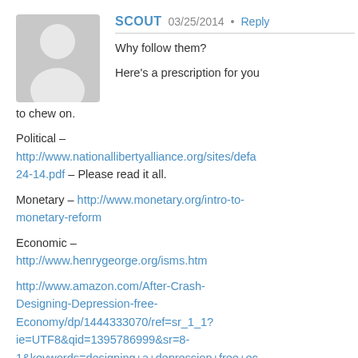[Figure (illustration): Grey avatar silhouette of a person, default user profile image]
SCOUT  03/25/2014 • Reply
Why follow them?

Here's a prescription for you to chew on.

Political – http://www.nationallibertyalliance.org/sites/defa…24-14.pdf – Please read it all.

Monetary – http://www.monetary.org/intro-to-monetary-reform

Economic – http://www.henrygeorge.org/isms.htm

http://www.amazon.com/After-Crash-Designing-Depression-free-Economy/dp/1444333070/ref=sr_1_1?ie=UTF8&qid=1395786999&sr=8-1&keywords=designing+a+depression+free+ec…